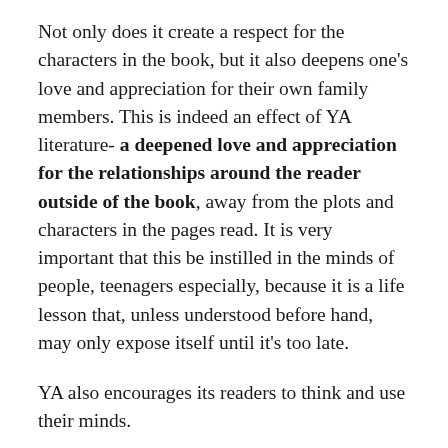Not only does it create a respect for the characters in the book, but it also deepens one's love and appreciation for their own family members. This is indeed an effect of YA literature- a deepened love and appreciation for the relationships around the reader outside of the book, away from the plots and characters in the pages read. It is very important that this be instilled in the minds of people, teenagers especially, because it is a life lesson that, unless understood before hand, may only expose itself until it's too late.
YA also encourages its readers to think and use their minds.
Not just to develop knowledge from understanding more vocabulary and context which comes from reading any book, but it also forces its readers to problem solve and come up with ways to solve